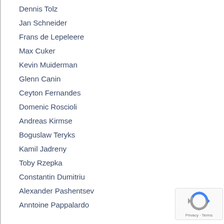Dennis Tolz
Jan Schneider
Frans de Lepeleere
Max Cuker
Kevin Muiderman
Glenn Canin
Ceyton Fernandes
Domenic Roscioli
Andreas Kirmse
Boguslaw Teryks
Kamil Jadreny
Toby Rzepka
Constantin Dumitriu
Alexander Pashentsev
Anntoine Pappalardo
[Figure (other): Google reCAPTCHA badge with Privacy and Terms text]